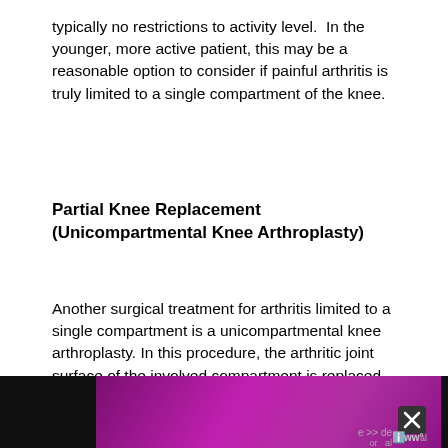typically no restrictions to activity level.  In the younger, more active patient, this may be a reasonable option to consider if painful arthritis is truly limited to a single compartment of the knee.
Partial Knee Replacement (Unicompartmental Knee Arthroplasty)
Another surgical treatment for arthritis limited to a single compartment is a unicompartmental knee arthroplasty. In this procedure, the arthritic joint surface of the involved compartment is replaced. Compared to a total knee replacement, recovery is typically much faster and
[Figure (other): Purple/magenta gradient banner overlay at bottom of page, partially obscuring text, with X close button and app icon in bottom right corner]